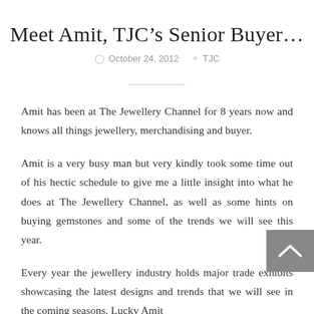Meet Amit, TJC's Senior Buyer…
October 24, 2012   TJC
Amit has been at The Jewellery Channel for 8 years now and knows all things jewellery, merchandising and buyer.
Amit is a very busy man but very kindly took some time out of his hectic schedule to give me a little insight into what he does at The Jewellery Channel, as well as some hints on buying gemstones and some of the trends we will see this year.
Every year the jewellery industry holds major trade exhibits showcasing the latest designs and trends that we will see in the coming seasons. Lucky Amit